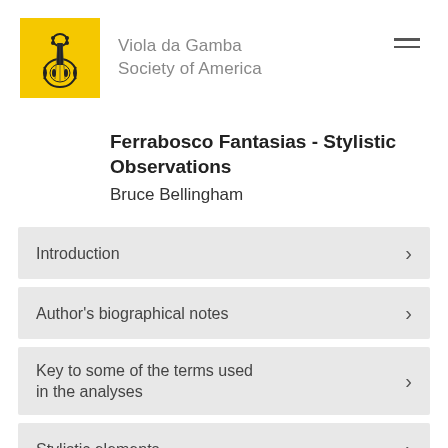[Figure (logo): Viola da Gamba Society of America logo — yellow square with a viol instrument illustration]
Viola da Gamba Society of America
Ferrabosco Fantasias - Stylistic Observations
Bruce Bellingham
Introduction
Author's biographical notes
Key to some of the terms used in the analyses
Stylistic elements
Suggested further reading